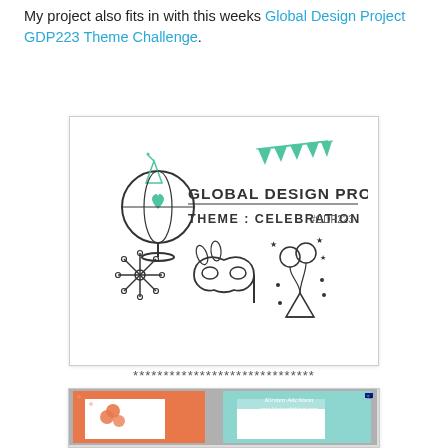My project also fits in with this weeks Global Design Project GDP223 Theme Challenge.
[Figure (illustration): Global Design Project GDP223 Theme Challenge banner with globe icon, bunting, celebration icons (snowflake, masquerade mask, balloons and party hat). Text reads GLOBAL DESIGN PROJECT THEME: CELEBRATION #gdp223]
******************************
[Figure (photo): Cards made by Kirsten Aitchison showing koala with balloons on coral/orange card and a teal/mint card, watermarked with kirstenaitchison.com]